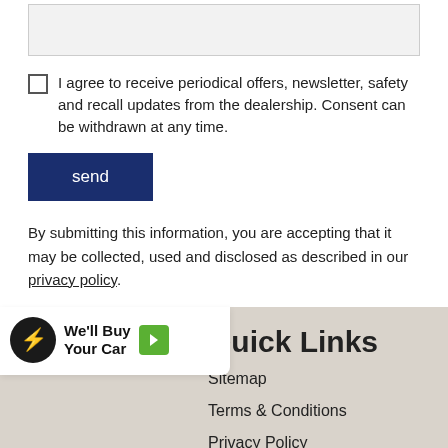[textarea input field]
I agree to receive periodical offers, newsletter, safety and recall updates from the dealership. Consent can be withdrawn at any time.
send
By submitting this information, you are accepting that it may be collected, used and disclosed as described in our privacy policy.
[Figure (logo): We'll Buy Your Car widget with car icon, text and green arrow button]
Quick Links
Sitemap
Terms & Conditions
Privacy Policy
Hours Of Operation